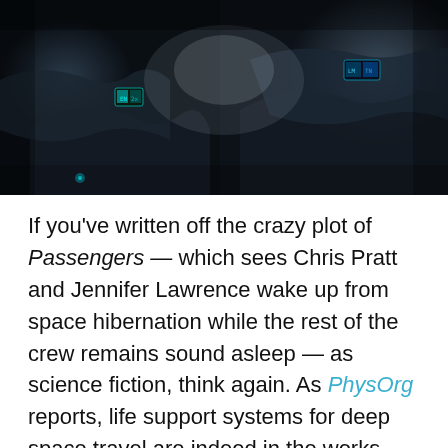[Figure (photo): Dark, moody science fiction scene showing futuristic spacecraft interior cockpit with glowing cyan displays/instruments, black and white color palette.]
If you've written off the crazy plot of Passengers — which sees Chris Pratt and Jennifer Lawrence wake up from space hibernation while the rest of the crew remains sound asleep — as science fiction, think again. As PhysOrg reports, life support systems for deep space travel are indeed in the works, and an Atlanta company called Spaceworks Enterprises is leading the charge.